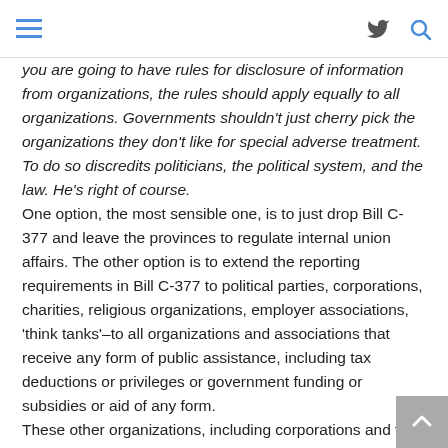[hamburger menu] [twitter icon] [search icon]
you are going to have rules for disclosure of information from organizations, the rules should apply equally to all organizations.  Governments shouldn't just cherry pick the organizations they don't like for special adverse treatment.  To do so discredits politicians, the political system, and the law. He's right of course.
One option, the most sensible one, is to just drop Bill C-377 and leave the provinces to regulate internal union affairs.  The other option is to extend the reporting requirements in Bill C-377 to political parties, corporations, charities, religious organizations, employer associations, 'think tanks'–to all organizations and associations that receive any form of public assistance, including tax deductions or privileges or government funding or subsidies or aid of any form.
These other organizations, including corporations and the Conservative Party itself, would no doubt go ballistic if a